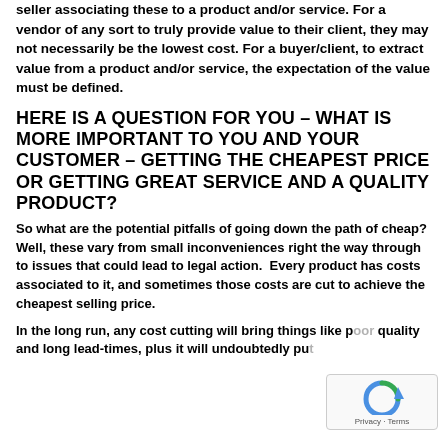seller associating these to a product and/or service. For a vendor of any sort to truly provide value to their client, they may not necessarily be the lowest cost. For a buyer/client, to extract value from a product and/or service, the expectation of the value must be defined.
HERE IS A QUESTION FOR YOU – WHAT IS MORE IMPORTANT TO YOU AND YOUR CUSTOMER – GETTING THE CHEAPEST PRICE OR GETTING GREAT SERVICE AND A QUALITY PRODUCT?
So what are the potential pitfalls of going down the path of cheap?  Well, these vary from small inconveniences right the way through to issues that could lead to legal action.  Every product has costs associated to it, and sometimes those costs are cut to achieve the cheapest selling price.
In the long run, any cost cutting will bring things like p… quality and long lead-times, plus it will undoubtedly pu…